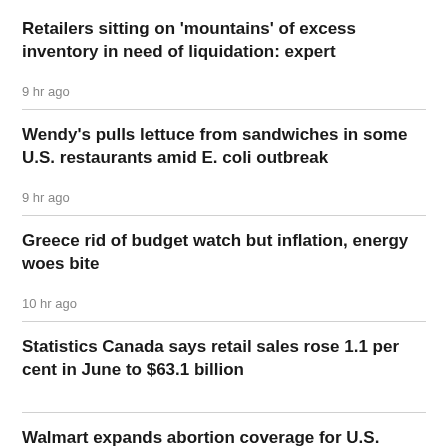Retailers sitting on 'mountains' of excess inventory in need of liquidation: expert
9 hr ago
Wendy's pulls lettuce from sandwiches in some U.S. restaurants amid E. coli outbreak
9 hr ago
Greece rid of budget watch but inflation, energy woes bite
10 hr ago
Statistics Canada says retail sales rose 1.1 per cent in June to $63.1 billion
Walmart expands abortion coverage for U.S.